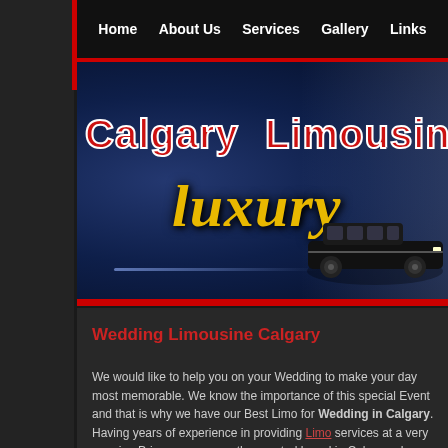Home | About Us | Services | Gallery | Links
[Figure (logo): Calgary Luxury Limousine banner with red bold text 'Calgary Limousine' and gold italic script 'luxury' on dark blue background with a black limousine vehicle on the right]
Wedding Limousine Calgary
We would like to help you on your Wedding to make your day most memorable. We know the importance of this special Event and that is why we have our Best Limo for Wedding in Calgary. Having years of experience in providing Limo services at a very genuine Price, we are now the reputed brand in Calgary who offer complete services from start to finish.